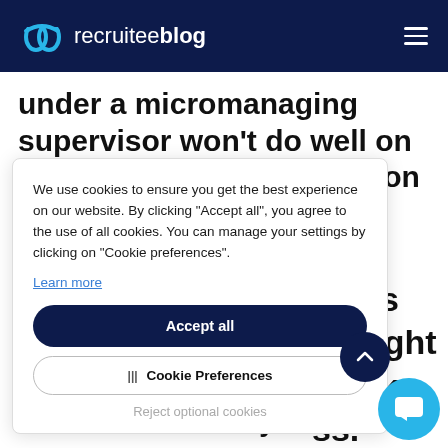recruiteeblog
under a micromanaging supervisor won't do well on a team with a very hands-on
We use cookies to ensure you get the best experience on our website. By clicking “Accept all”, you agree to the use of all cookies. You can manage your settings by clicking on "Cookie preferences".
Learn more
Accept all
Cookie Preferences
Reject optional cookies
that gives ne right l make ss.
nts, and see ide you